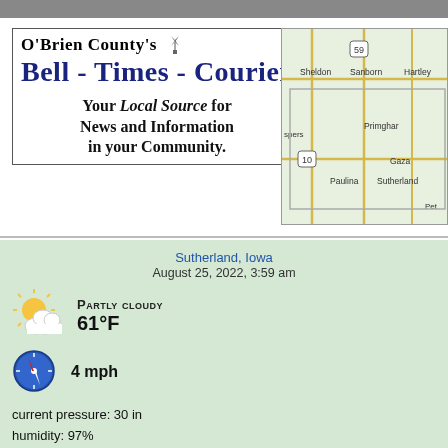O'Brien County's Bell - Times - Courier
Your Local Source for News and Information in your Community.
[Figure (map): Map of O'Brien County, Iowa showing Sheldon, Sanborn, Hartley, Primghar, Gaza, Paulina, Sutherland and surrounding area with highway 59 and 10 marked.]
Sutherland, Iowa
August 25, 2022, 3:59 am
[Figure (other): Partly cloudy weather icon - sun partially obscured by clouds]
Partly Cloudy
61°F
[Figure (other): Wind direction compass icon with red arrow]
4 mph
current pressure: 30 in
humidity: 97%
wind speed: 4 mph NNW
sunrise: 6:39 am
sunset: 8:10 pm